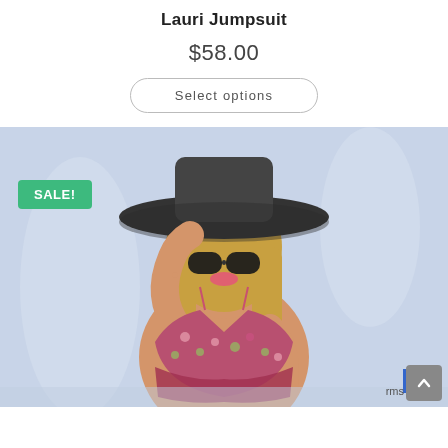Lauri Jumpsuit
$58.00
Select options
[Figure (photo): A woman wearing a floral jumpsuit, wide-brim dark hat, and sunglasses, posing against a light blue background. A green 'SALE!' badge is visible in the upper left of the image.]